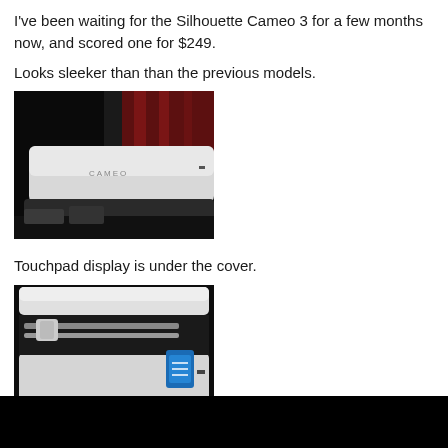I've been waiting for the Silhouette Cameo 3 for a few months now, and scored one for $249.
Looks sleeker than than the previous models.
[Figure (photo): Photo of Silhouette Cameo 3 cutting machine, closed, white body on dark background with red curtain visible]
Touchpad display is under the cover.
[Figure (photo): Photo of Silhouette Cameo 3 cutting machine with lid open, showing interior cutting mechanism and blue touchpad display screen]